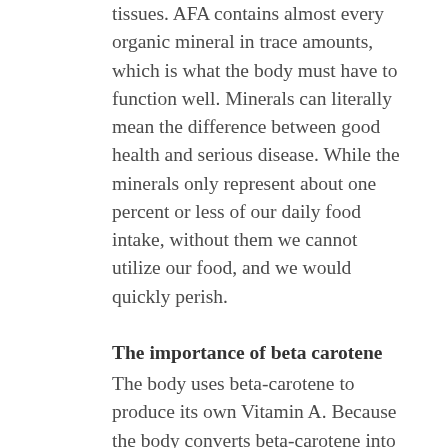tissues. AFA contains almost every organic mineral in trace amounts, which is what the body must have to function well. Minerals can literally mean the difference between good health and serious disease. While the minerals only represent about one percent or less of our daily food intake, without them we cannot utilize our food, and we would quickly perish.
The importance of beta carotene
The body uses beta-carotene to produce its own Vitamin A. Because the body converts beta-carotene into Vitamin A only as needed, there is no threat of toxic build up. The beta-carotene in AFA is probably one of the most powerful natural antioxidants known today. It may well be the single most important factor towards enhancing